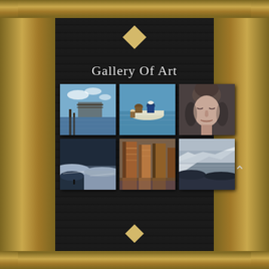Gallery Of Art
[Figure (photo): Art gallery thumbnail 1: coastal scene with pier ruins and wooden posts in water under blue sky]
[Figure (photo): Art gallery thumbnail 2: painting of two figures in a white boat on blue water, child standing at bow]
[Figure (photo): Art gallery thumbnail 3: monochromatic portrait of a woman with eyes closed, detailed grayscale rendering]
[Figure (photo): Art gallery thumbnail 4: wintry landscape painting with snow-covered ground and dark sky]
[Figure (photo): Art gallery thumbnail 5: painting of tall orange/brown cliff faces with dramatic shadows and reflections]
[Figure (photo): Art gallery thumbnail 6: snowy coastal cliff landscape painting in muted blues and whites]